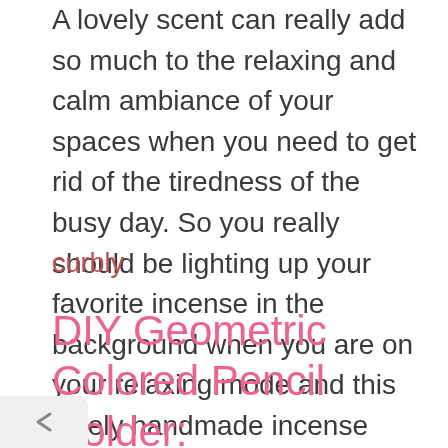A lovely scent can really add so much to the relaxing and calm ambiance of your spaces when you need to get rid of the tiredness of the busy day. So you really should be lighting up your favorite incense in the background when you are on your relaxing mode and this lovely handmade incense holder out of the clay to look fitting and fun for the decor too.
curbly
DIY Geometric Colored Pencil Holder: